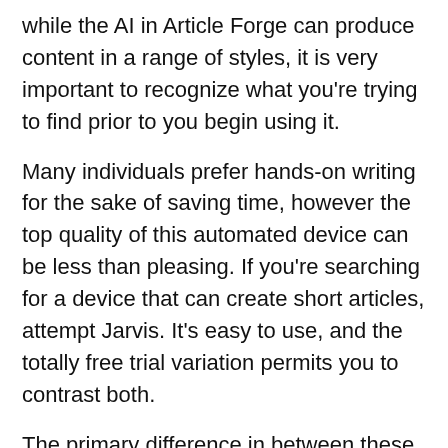while the AI in Article Forge can produce content in a range of styles, it is very important to recognize what you're trying to find prior to you begin using it.
Many individuals prefer hands-on writing for the sake of saving time, however the top quality of this automated device can be less than pleasing. If you're searching for a device that can create short articles, attempt Jarvis. It's easy to use, and the totally free trial variation permits you to contrast both.
The primary difference in between these 2 programs is the price. While both can producing short articles, the last is more pricey for newbies. It costs $57 monthly, which can get discouraging if you're simply starting out. Nevertheless, the complimentary variation enables you to take advantage of all the functions as well as benefits without needing to stress